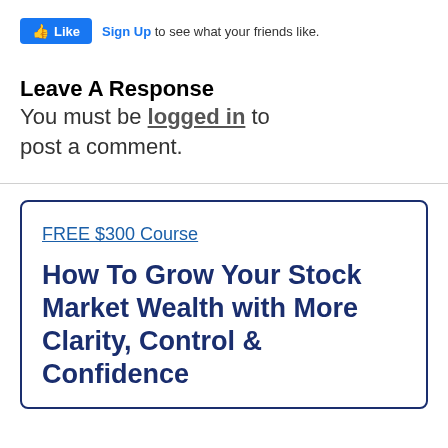[Figure (other): Facebook Like button widget with thumbs up icon and 'Like' text in blue button, followed by 'Sign Up to see what your friends like.' text]
Leave A Response
You must be logged in to post a comment.
FREE $300 Course
How To Grow Your Stock Market Wealth with More Clarity, Control & Confidence